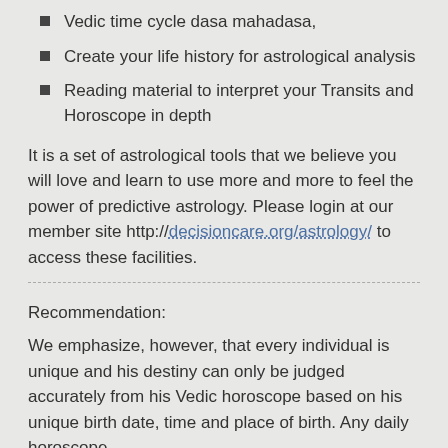Vedic time cycle dasa mahadasa,
Create your life history for astrological analysis
Reading material to interpret your Transits and Horoscope in depth
It is a set of astrological tools that we believe you will love and learn to use more and more to feel the power of predictive astrology. Please login at our member site http://decisioncare.org/astrology/ to access these facilities.
Recommendation:
We emphasize, however, that every individual is unique and his destiny can only be judged accurately from his Vedic horoscope based on his unique birth date, time and place of birth. Any daily horoscope...